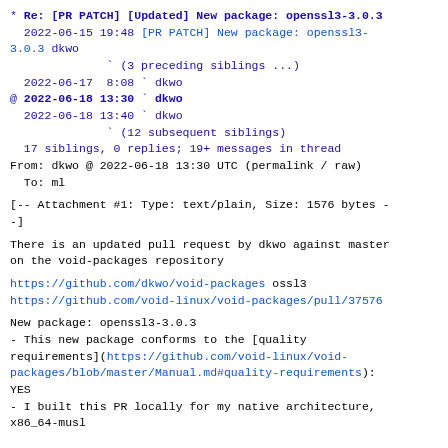* Re: [PR PATCH] [Updated] New package: openssl3-3.0.3
  2022-06-15 19:48 [PR PATCH] New package: openssl3-3.0.3 dkwo
              (3 preceding siblings ...)
  2022-06-17  8:08 ` dkwo
@ 2022-06-18 13:30 ` dkwo
  2022-06-18 13:40 ` dkwo
              (12 subsequent siblings)
  17 siblings, 0 replies; 19+ messages in thread
From: dkwo @ 2022-06-18 13:30 UTC (permalink / raw)
  To: ml
[-- Attachment #1: Type: text/plain, Size: 1576 bytes --]
There is an updated pull request by dkwo against master
on the void-packages repository
https://github.com/dkwo/void-packages ossl3
https://github.com/void-linux/void-packages/pull/37576
New package: openssl3-3.0.3
- This new package conforms to the [quality
requirements](https://github.com/void-linux/void-packages/blob/master/Manual.md#quality-requirements):
YES
- I built this PR locally for my native architecture,
x86_64-musl